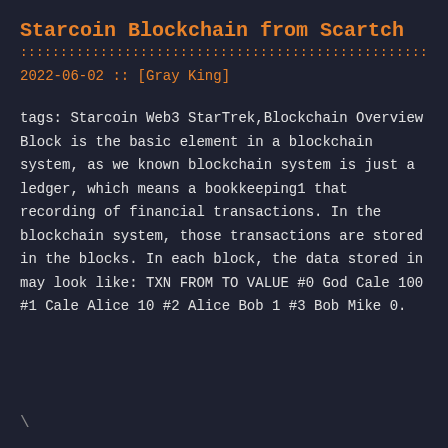Starcoin Blockchain from Scartch
::::::::::::::::::::::::::::::::::::::::::::::::::::::::::::::::::::::::::::::::
2022-06-02 :: [Gray King]
tags: Starcoin Web3 StarTrek,Blockchain Overview Block is the basic element in a blockchain system, as we known blockchain system is just a ledger, which means a bookkeeping1 that recording of financial transactions. In the blockchain system, those transactions are stored in the blocks. In each block, the data stored in may look like: TXN FROM TO VALUE #0 God Cale 100 #1 Cale Alice 10 #2 Alice Bob 1 #3 Bob Mike 0.
\